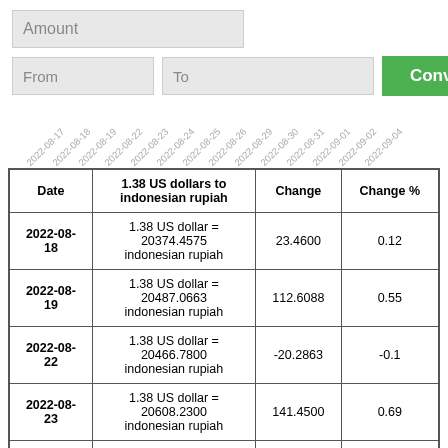Amount
From
To
Convert
[Figure (other): Date axis labels rotated 45 degrees: 2022-08-17, 2022-08-18, 2022-08-19, 2022-08-22, 2022-08-23, 2022-08-24, 2022-08-25, 2022-08-26, 2022-08-29, 2022-08-30, 2022-08-31, 2022-09-01, 2022-09-02, 2022-09-04]
| Date | 1.38 US dollars to indonesian rupiah | Change | Change % |
| --- | --- | --- | --- |
| 2022-08-18 | 1.38 US dollar = 20374.4575 indonesian rupiah | 23.4600 | 0.12 |
| 2022-08-19 | 1.38 US dollar = 20487.0663 indonesian rupiah | 112.6088 | 0.55 |
| 2022-08-22 | 1.38 US dollar = 20466.7800 indonesian rupiah | -20.2863 | -0.1 |
| 2022-08-23 | 1.38 US dollar = 20608.2300 indonesian rupiah | 141.4500 | 0.69 |
| 2022-08- | 1.38 US dollar = |  |  |